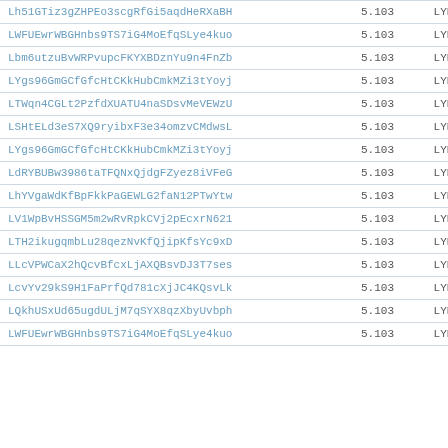| Hash | Value | Tag |
| --- | --- | --- |
| Lh51GTiz3gZHPEo3scgRfGi5aqdHeRXaBH | 5.103 | LYRA |
| LWFUEwrWBGHnbs9TS7iG4MoEfqSLye4kuo | 5.103 | LYRA |
| Lbm6utzuBvWRPvupcFKYXBDznYu9n4FnZb | 5.103 | LYRA |
| LYgs96GmGCfGfcHtCKkHubCmkMZi3tYoyj | 5.103 | LYRA |
| LTWqn4CGLt2PzfdXUATU4naSDsvMeVEWzU | 5.103 | LYRA |
| LSHtELd3eS7XQ9ryibxF3e34omzvCMdwsL | 5.103 | LYRA |
| LYgs96GmGCfGfcHtCKkHubCmkMZi3tYoyj | 5.103 | LYRA |
| LdRYBUBw3986taTFQNxQjdgFZyez8iVFeG | 5.103 | LYRA |
| LhYVgaWdKfBpFkkPaGEWLG2faN12PTwYtw | 5.103 | LYRA |
| LV1WpBvHSSGM5m2wRvRpkCVj2pEcxrN621 | 5.103 | LYRA |
| LTH2ikugqmbLu28qezNvKfQjipKfsYc9xD | 5.103 | LYRA |
| LLcVPWCaX2hQcvBfcxLjAXQBsvDJ3T7ses | 5.103 | LYRA |
| LcvYv29kS9H1FaPrfQd781cXjJC4KQsvLk | 5.103 | LYRA |
| LQkhUSxUd65ugdULjM7qSYX8qzXbyUvbph | 5.103 | LYRA |
| LWFUEwrWBGHnbs9TS7iG4MoEfqSLye4kuo | 5.103 | LYRA |